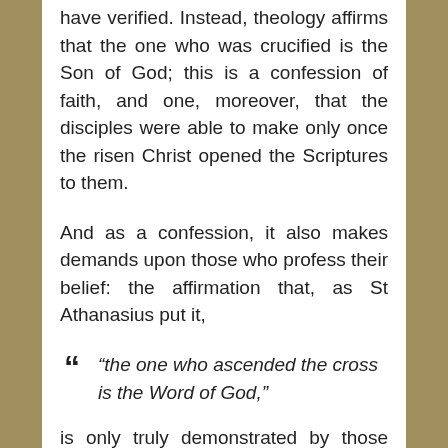have verified. Instead, theology affirms that the one who was crucified is the Son of God; this is a confession of faith, and one, moreover, that the disciples were able to make only once the risen Christ opened the Scriptures to them.
And as a confession, it also makes demands upon those who profess their belief: the affirmation that, as St Athanasius put it,
“the one who ascended the cross is the Word of God,”
is only truly demonstrated by those who “put on the faith of the cross” and, by their death in baptism and manner of living thereafter, become the body of Christ, born again in the Virgin Mother, the